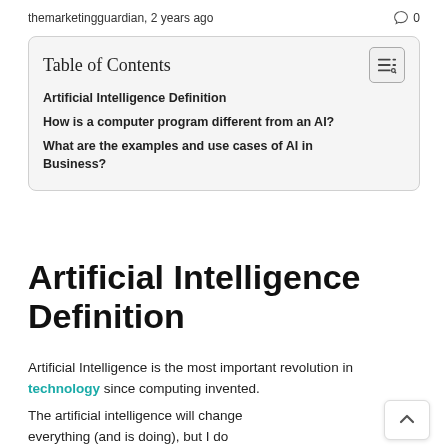themarketingguardian, 2 years ago  ○ 0
| Table of Contents |
| --- |
| Artificial Intelligence Definition |
| How is a computer program different from an AI? |
| What are the examples and use cases of AI in Business? |
Artificial Intelligence Definition
Artificial Intelligence is the most important revolution in technology since computing invented.
The artificial intelligence will change everything (and is doing), but I do not have clear when or how or why.